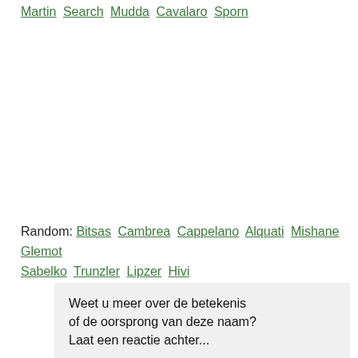Martin Search Mudda Cavalaro Sporn
Random: Bitsas Cambrea Cappelano Alquati Mishane Glemot Sabelko Trunzler Lipzer Hivi
Weet u meer over de betekenis of de oorsprong van deze naam? Laat een reactie achter...
uw naam: